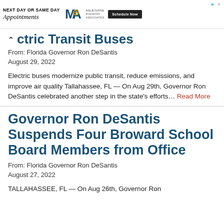[Figure (other): Advertisement banner for Melbourne Podiatry Associates: Next Day or Same Day Appointments with Schedule Now button]
ctric Transit Buses
From: Florida Governor Ron DeSantis
August 29, 2022
Electric buses modernize public transit, reduce emissions, and improve air quality Tallahassee, FL — On Aug 29th, Governor Ron DeSantis celebrated another step in the state's efforts… Read More
Governor Ron DeSantis Suspends Four Broward School Board Members from Office
From: Florida Governor Ron DeSantis
August 27, 2022
TALLAHASSEE, FL — On Aug 26th, Governor Ron